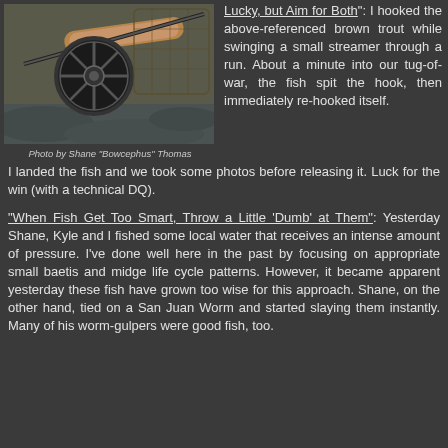[Figure (photo): Fly fishing reel and rod resting on rocks near water]
Photo by Shane "Bowcephus" Thomas
Lucky, but Aim for Both": I hooked the above-referenced brown trout while swinging a small streamer through a run. About a minute into our tug-of-war, the fish spit the hook, then immediately re-hooked itself.  I landed the fish and we took some photos before releasing it.  Luck for the win (with a technical DQ).
"When Fish Get Too Smart, Throw a Little 'Dumb' at Them": Yesterday Shane, Kyle and I fished some local water that receives an intense amount of pressure. I've done well here in the past by focusing on appropriate small baetis and midge life cycle patterns. However, it became apparent yesterday these fish have grown too wise for this approach. Shane, on the other hand, tied on a San Juan Worm and started slaying them instantly. Many of his worm-gulpers were good fish, too.